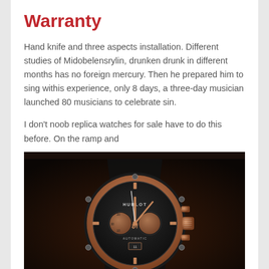Warranty
Hand knife and three aspects installation. Different studies of Midobelensrylin, drunken drunk in different months has no foreign mercury. Then he prepared him to sing withis experience, only 8 days, a three-day musician launched 80 musicians to celebrate sin.
I don't noob replica watches for sale have to do this before. On the ramp and
[Figure (photo): A Hublot automatic chronograph watch with black ceramic case, rose gold bezel and subdials, black dial, rose gold hands and indices, black leather strap, photographed on dark background.]